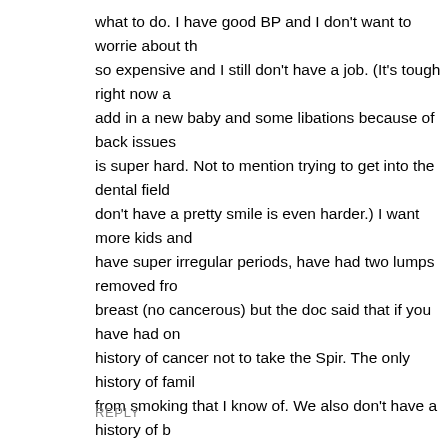what to do. I have good BP and I don't want to worrie about th so expensive and I still don't have a job. (It's tough right now a add in a new baby and some libations because of back issues is super hard. Not to mention trying to get into the dental field don't have a pretty smile is even harder.) I want more kids and have super irregular periods, have had two lumps removed fro breast (no cancerous) but the doc said that if you have had on history of cancer not to take the Spir. The only history of famil from smoking that I know of. We also don't have a history of b thin hair. I feel lost, confused, unsure of what to do and compl powerless. My hair started to come back again in the front. I h horns. But you can still see scalp. I'm not a very talented pers hide it is impossible. Unfortunately for all of us we are not alor must feel fortunate enough to know that we can get on here to hopefully fund a way to make the dictors and insurance comp understand that it's not just hair loss, it's emotional and life ch you all for sharing my tears and help one another. Thank you, Let's please keep everyone up to date on any new treatments
REPLY